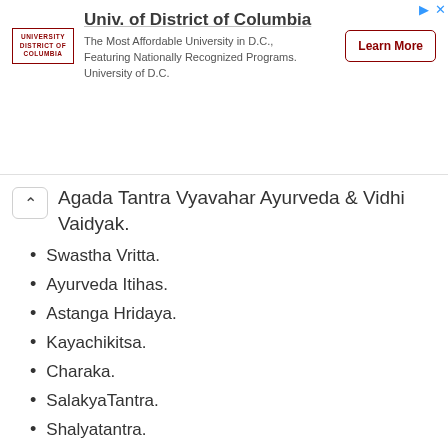[Figure (other): Advertisement banner for University of District of Columbia with logo, title, description text, and Learn More button]
Agada Tantra Vyavahar Ayurveda & Vidhi Vaidyak.
Swastha Vritta.
Ayurveda Itihas.
Astanga Hridaya.
Kayachikitsa.
Charaka.
SalakyaTantra.
Shalyatantra.
Kaumara vritya.
Prasuti tantra & Stri Roga.
Panchakarma.